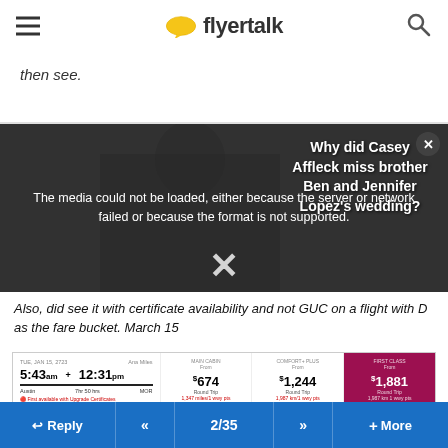flyertalk
then see.
[Figure (screenshot): Video media player overlay showing error message: The media could not be loaded, either because the server or network failed or because the format is not supported. Overlaid on background with person in suit. Side text: Why did Casey Affleck miss brother Ben and Jennifer Lopez's wedding?]
Also, did see it with certificate availability and not GUC on a flight with D as the fare bucket. March 15
[Figure (screenshot): Flight booking screenshot showing departure 5:43am arrival 12:31pm with fare options: $674 (Basic Fare), $1,244 (Comfort+), $1,881 (First) highlighted in magenta]
Reply  <<  2/35  >>  + More